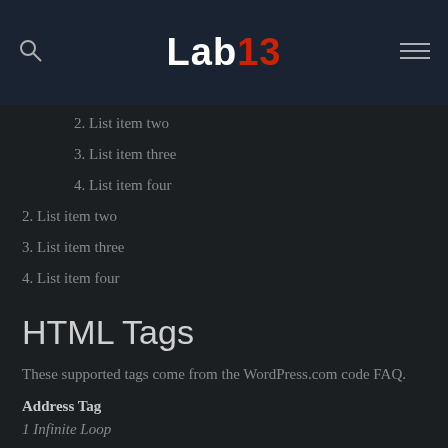Lab13
2. List item two
3. List item three
4. List item four
2. List item two
3. List item three
4. List item four
HTML Tags
These supported tags come from the WordPress.com code FAQ.
Address Tag
1 Infinite Loop